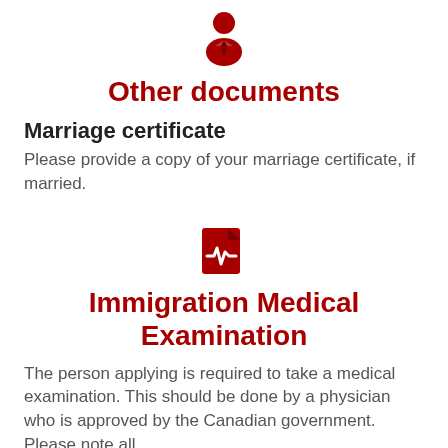[Figure (illustration): Red person/tie icon representing a person document]
Other documents
Marriage certificate
Please provide a copy of your marriage certificate, if married.
[Figure (illustration): Red medical/document file icon with heartbeat line]
Immigration Medical Examination
The person applying is required to take a medical examination. This should be done by a physician who is approved by the Canadian government. Please note all